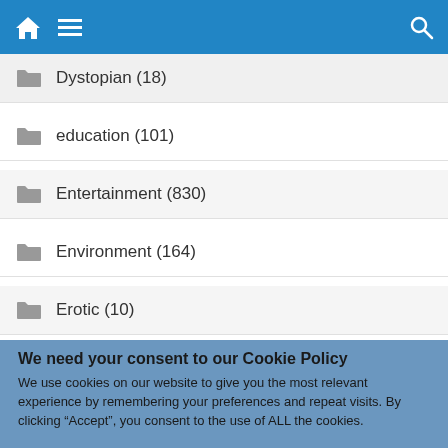Navigation bar with home, menu, and search icons
Dystopian (18)
education (101)
Entertainment (830)
Environment (164)
Erotic (10)
We need your consent to our Cookie Policy
We use cookies on our website to give you the most relevant experience by remembering your preferences and repeat visits. By clicking “Accept”, you consent to the use of ALL the cookies.
Do not sell my personal information.
Cookie Settings  Accept